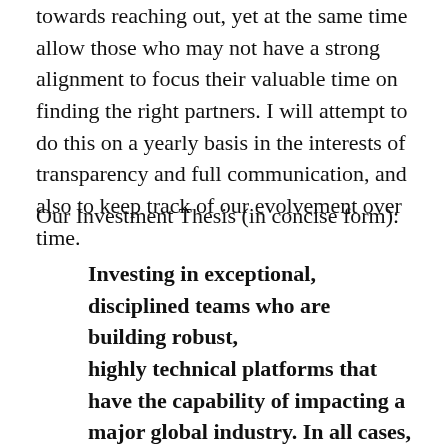towards reaching out, yet at the same time allow those who may not have a strong alignment to focus their valuable time on finding the right partners. I will attempt to do this on a yearly basis in the interests of transparency and full communication, and also to keep track of our evolvement over time.
Our Investment Thesis (in concise form):
Investing in exceptional, disciplined teams who are building robust, highly technical platforms that have the capability of impacting a major global industry. In all cases, these teams posses a secret sauce that is not readily attainable by